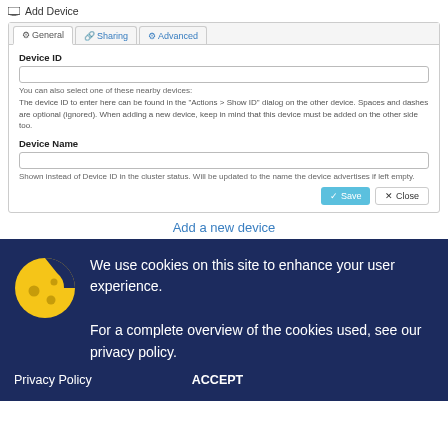Add Device
[Figure (screenshot): Add Device dialog with tabs: General, Sharing, Advanced. Contains Device ID text input field with helper text, Device Name text input field with helper text, and Save/Close buttons.]
Add a new device
We use cookies on this site to enhance your user experience.
For a complete overview of the cookies used, see our privacy policy.
Privacy Policy
ACCEPT